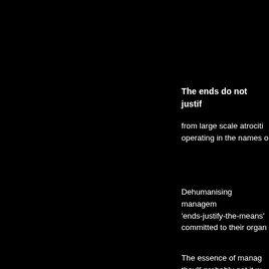The ends do not justif
from large scale atrociti operating in the names o
Dehumanising managem 'ends-justify-the-means' committed to their organ
The essence of manag they'll probably get it w are built upon it.
If we truly believe in eq that all of those involved
If we truly believe in hu pre-set job title, or meas
If we truly believe in ac leaves nothing to be a